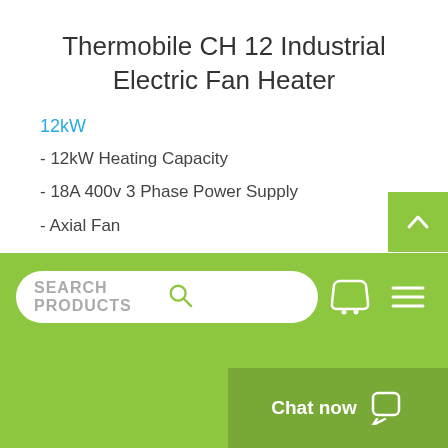Thermobile CH 12 Industrial Electric Fan Heater
12kW
- 12kW Heating Capacity
- 18A 400v 3 Phase Power Supply
- Axial Fan
- Can Be Used With Ducting
- 100% Clean, Dry Heat
- Stainless Steel Elements